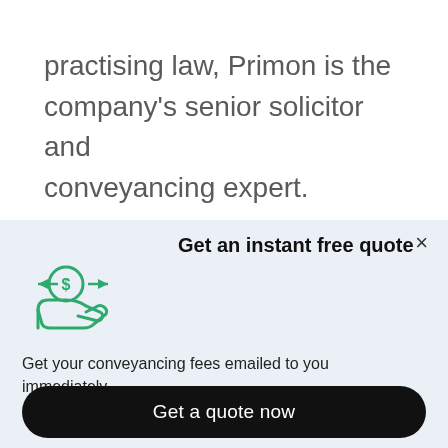practising law, Primon is the company's senior solicitor and conveyancing expert.
Graduating with an Arts/Law degree in 2003 and admitted as a Solicitor in 2004, Luke Primon
Get an instant free quote
[Figure (illustration): Green hand holding a coin icon representing money/payment]
Get your conveyancing fees emailed to you immediately.
Get a quote now